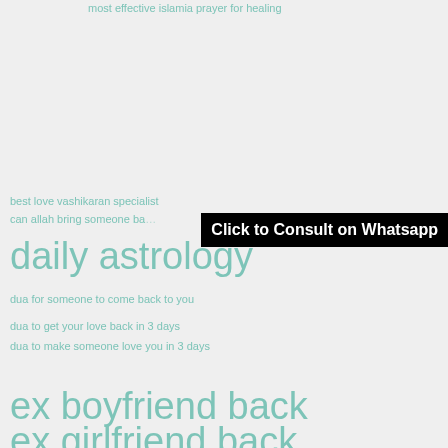most effective islamia prayer for healing
best love vashikaran specialist
can allah bring someone ba…
Click to Consult on Whatsapp
daily astrology
dua for someone to come back to you
dua to get your love back in 3 days
dua to make someone love you in 3 days
ex boyfriend back
ex girlfriend back